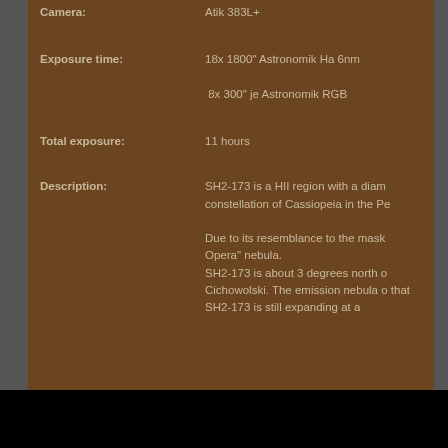Camera: Atik 383L+
Exposure time: 18x 1800" Astronomik Ha 6nm
 8x 300" je Astronomik RGB
Total exposure: 11 hours
Description: SH2-173 is a HII region with a diam constellation of Cassiopeia in the Pe Due to its resemblance to the mask Opera" nebula. SH2-173 is about 3 degrees north o Cichowolski. The emission nebula o that SH2-173 is still expanding at a